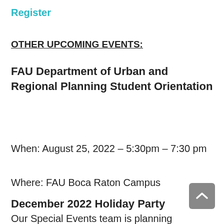Register
OTHER UPCOMING EVENTS:
FAU Department of Urban and Regional Planning Student Orientation
When: August 25, 2022 – 5:30pm – 7:30 pm
Where: FAU Boca Raton Campus
December 2022 Holiday Party
Our Special Events team is planning